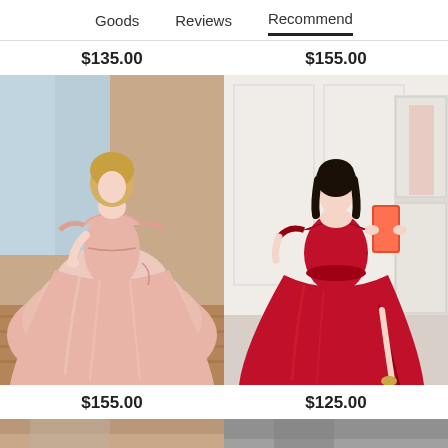Goods   Reviews   Recommend
$135.00
$155.00
[Figure (photo): Woman wearing a pink off-shoulder satin ballgown on a hardwood floor]
[Figure (photo): Woman in a red off-shoulder satin gown taking a mirror selfie in a boutique]
$155.00
$125.00